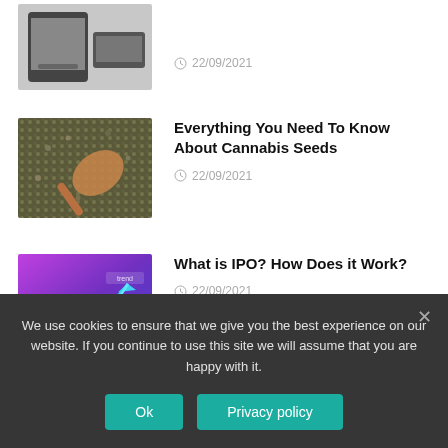[Figure (photo): Hands holding a smartphone near a laptop, article thumbnail]
22/09/2021
[Figure (photo): Cannabis seeds with a wooden spoon, article thumbnail]
Everything You Need To Know About Cannabis Seeds
22/09/2021
[Figure (photo): IPO financial growth chart with glowing arrow on purple background, article thumbnail]
What is IPO? How Does it Work?
22/09/2021
[Figure (photo): Partial thumbnail of another article]
All You Need To Know About Something
We use cookies to ensure that we give you the best experience on our website. If you continue to use this site we will assume that you are happy with it.
Ok
Privacy policy